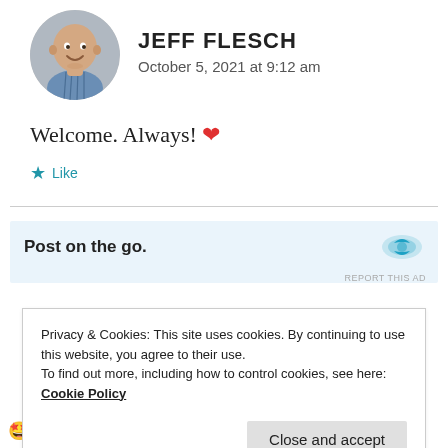[Figure (photo): Circular avatar photo of a smiling bald man in a blue checkered shirt]
JEFF FLESCH
October 5, 2021 at 9:12 am
Welcome. Always! ❤️
★ Like
[Figure (screenshot): Ad banner reading 'Post on the go.' with a blue bird/logo icon on right]
REPORT THIS AD
Privacy & Cookies: This site uses cookies. By continuing to use this website, you agree to their use.
To find out more, including how to control cookies, see here: Cookie Policy
Close and accept
🤩💚💚 ... My wishes for whatever you've done